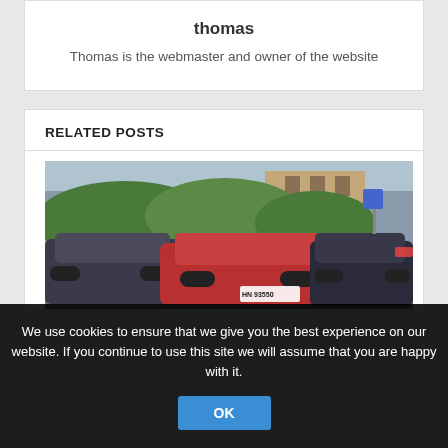thomas
Thomas is the webmaster and owner of the website
RELATED POSTS
[Figure (photo): Photo of cars parked in a parking lot with green hedges and buildings in the background. A red BMW is prominent in the center with a license plate reading HN 93550.]
We use cookies to ensure that we give you the best experience on our website. If you continue to use this site we will assume that you are happy with it.